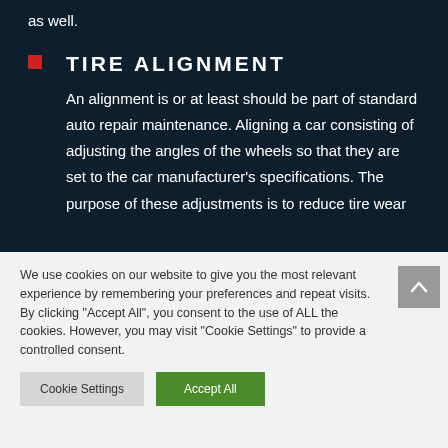as well.
TIRE ALIGNMENT
An alignment is or at least should be part of standard auto repair maintenance. Aligning a car consisting of adjusting the angles of the wheels so that they are set to the car manufacturer's specifications. The purpose of these adjustments is to reduce tire wear
We use cookies on our website to give you the most relevant experience by remembering your preferences and repeat visits. By clicking "Accept All", you consent to the use of ALL the cookies. However, you may visit "Cookie Settings" to provide a controlled consent.
Cookie Settings
Accept All